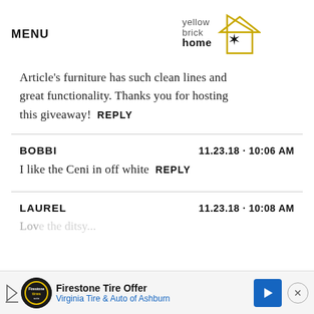MENU
[Figure (logo): Yellow Brick Home logo with house outline and star]
Article's furniture has such clean lines and great functionality. Thanks you for hosting this giveaway!  REPLY
BOBBI  11.23.18 · 10:06 AM
I like the Ceni in off white  REPLY
LAUREL  11.23.18 · 10:08 AM
[Figure (infographic): Firestone Tire Offer advertisement bar — Virginia Tire & Auto of Ashburn]